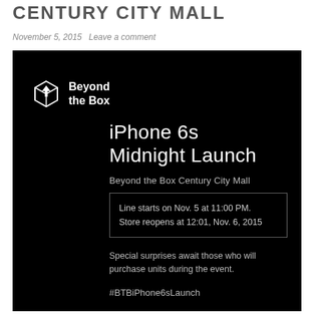CENTURY CITY MALL
November 5, 2015   Leave a comment
[Figure (infographic): Black promotional card for Beyond the Box iPhone 6s Midnight Launch at Century City Mall. Includes Beyond the Box logo (white cube icon with arrow and bold text), event title 'iPhone 6s Midnight Launch', subtitle 'Beyond the Box Century City Mall', a bordered box with 'Line starts on Nov. 5 at 11:00 PM. Store reopens at 12:01, Nov. 6, 2015', additional text 'Special surprises await those who will purchase units during the event.', and hashtag '#BTBiPhone6sLaunch'.]